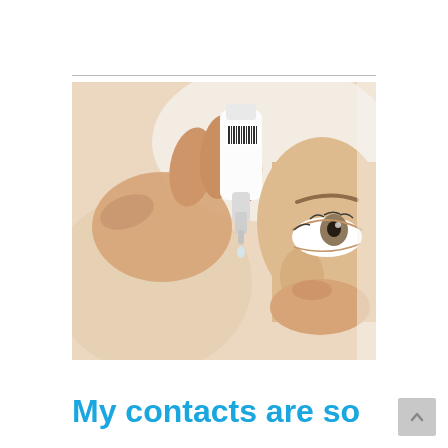[Figure (photo): Close-up photo of a person applying eye drops from a small white bottle into their eye. The person is looking upward while holding the dropper bottle above their open eye with one hand and pulling down the lower eyelid with the other hand.]
My contacts are so